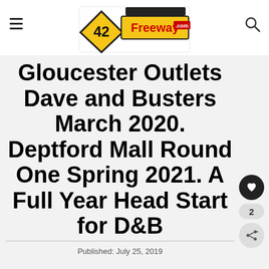42Freeway.com logo
Gloucester Outlets Dave and Busters March 2020. Deptford Mall Round One Spring 2021. A Full Year Head Start for D&B
Published: July 25, 2019